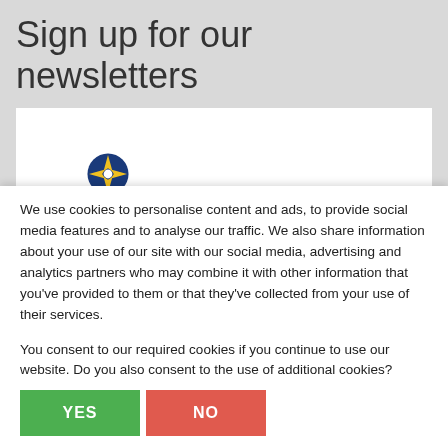Sign up for our newsletters
[Figure (logo): Circular logo with blue and yellow colors, partial compass/star shape visible]
We use cookies to personalise content and ads, to provide social media features and to analyse our traffic. We also share information about your use of our site with our social media, advertising and analytics partners who may combine it with other information that you've provided to them or that they've collected from your use of their services.
You consent to our required cookies if you continue to use our website. Do you also consent to the use of additional cookies?
YES
NO